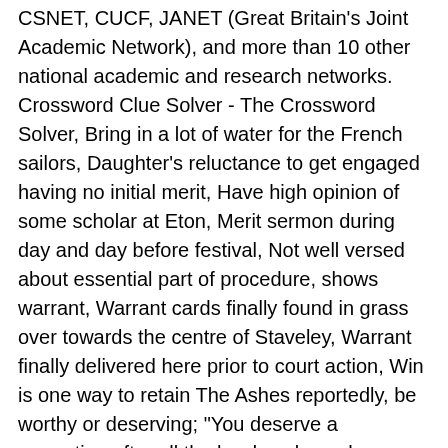CSNET, CUCF, JANET (Great Britain's Joint Academic Network), and more than 10 other national academic and research networks. Crossword Clue Solver - The Crossword Solver, Bring in a lot of water for the French sailors, Daughter's reluctance to get engaged having no initial merit, Have high opinion of some scholar at Eton, Merit sermon during day and day before festival, Not well versed about essential part of procedure, shows warrant, Warrant cards finally found in grass over towards the centre of Staveley, Warrant finally delivered here prior to court action, Win is one way to retain The Ashes reportedly, be worthy or deserving; "You deserve a promotion after all the hard work you have done", earn on some commercial or business transaction; earn as salary or wages; "How much do you make a month in your new job? Crossword Clue The crossword clue To merit with 4 letters was last seen on the September 25, 2019.We think the likely answer to this clue is EARN.Below are all possible answers to this clue ordered by its rank. Name * Email * Comment. Number of letters. Debtor's letters. It took us some time to find the right